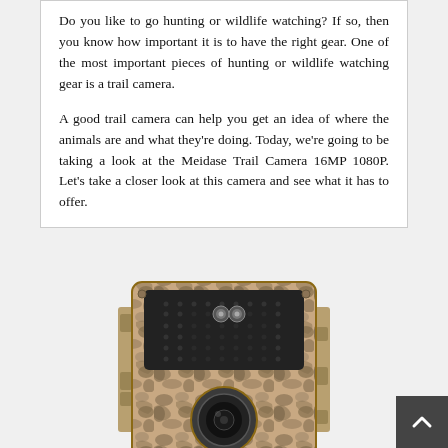Do you like to go hunting or wildlife watching? If so, then you know how important it is to have the right gear. One of the most important pieces of hunting or wildlife watching gear is a trail camera.

A good trail camera can help you get an idea of where the animals are and what they're doing. Today, we're going to be taking a look at the Meidase Trail Camera 16MP 1080P. Let's take a closer look at this camera and see what it has to offer.
[Figure (photo): Photo of the Meidase Trail Camera 16MP 1080P, showing a camouflage-patterned wildlife camera with a dark sensor panel and camera lens on the front.]